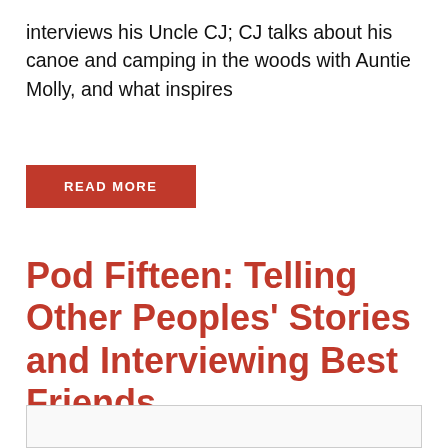interviews his Uncle CJ; CJ talks about his canoe and camping in the woods with Auntie Molly, and what inspires
READ MORE
Pod Fifteen: Telling Other Peoples' Stories and Interviewing Best Friends
[Figure (other): Empty white/light gray image placeholder box with light border]